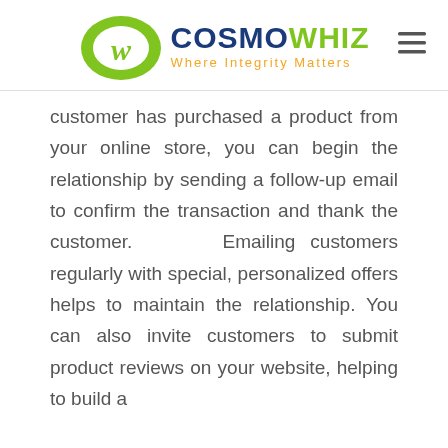COSMOWHIZ — Where Integrity Matters
customer has purchased a product from your online store, you can begin the relationship by sending a follow-up email to confirm the transaction and thank the customer. Emailing customers regularly with special, personalized offers helps to maintain the relationship. You can also invite customers to submit product reviews on your website, helping to build a